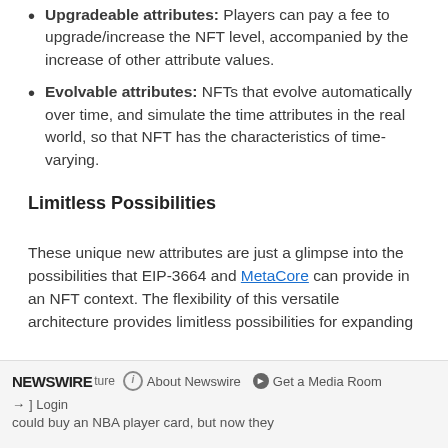Upgradeable attributes: Players can pay a fee to upgrade/increase the NFT level, accompanied by the increase of other attribute values.
Evolvable attributes: NFTs that evolve automatically over time, and simulate the time attributes in the real world, so that NFT has the characteristics of time-varying.
Limitless Possibilities
These unique new attributes are just a glimpse into the possibilities that EIP-3664 and MetaCore can provide in an NFT context. The flexibility of this versatile architecture provides limitless possibilities for expanding
NEWSWIRE  About Newswire  Get a Media Room  Login  features people could buy an NBA player card, but now they